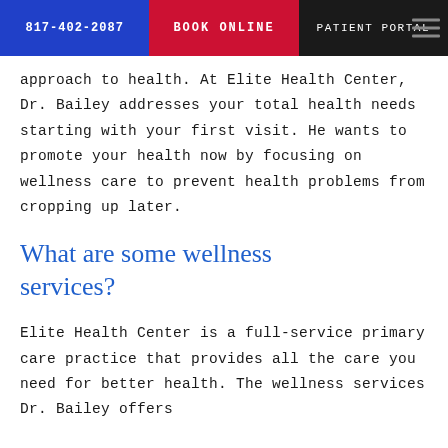817-402-2087 | BOOK ONLINE | PATIENT PORTAL
approach to health. At Elite Health Center, Dr. Bailey addresses your total health needs starting with your first visit. He wants to promote your health now by focusing on wellness care to prevent health problems from cropping up later.
What are some wellness services?
Elite Health Center is a full-service primary care practice that provides all the care you need for better health. The wellness services Dr. Bailey offers